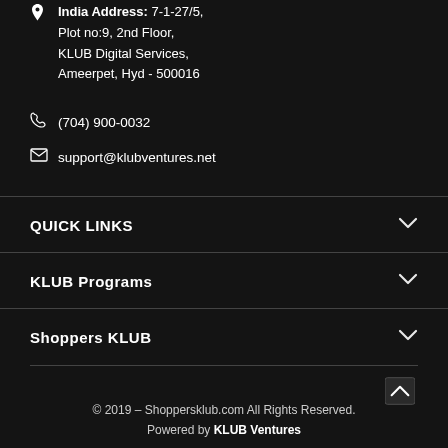India Address: 7-1-27/5, Plot no:9, 2nd Floor, KLUB Digital Services, Ameerpet, Hyd - 500016
(704) 900-0032
support@klubventures.net
QUICK LINKS
KLUB Programs
Shoppers KLUB
© 2019 – Shoppersklub.com All Rights Reserved. Powered by KLUB Ventures